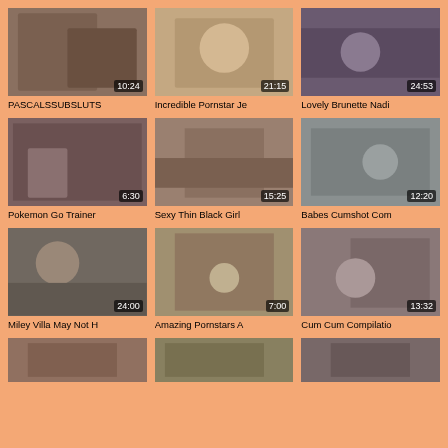[Figure (screenshot): Video thumbnail grid showing adult content video thumbnails with durations and titles]
PASCALSSUBSLUTS
Incredible Pornstar Je
Lovely Brunette Nadi
Pokemon Go Trainer
Sexy Thin Black Girl
Babes Cumshot Com
Miley Villa May Not H
Amazing Pornstars A
Cum Cum Compilatio